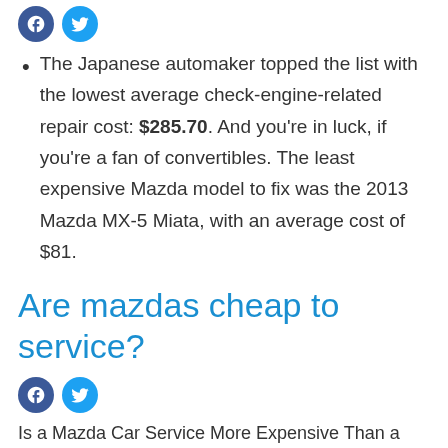[Figure (other): Facebook and Twitter social share icon buttons (blue circles with f and bird icons)]
The Japanese automaker topped the list with the lowest average check-engine-related repair cost: $285.70. And you're in luck, if you're a fan of convertibles. The least expensive Mazda model to fix was the 2013 Mazda MX-5 Miata, with an average cost of $81.
Are mazdas cheap to service?
[Figure (other): Facebook and Twitter social share icon buttons (blue circles with f and bird icons)]
Is a Mazda Car Service More Expensive Than a Toyota Car Service? ... So an equivalent 10,000 km